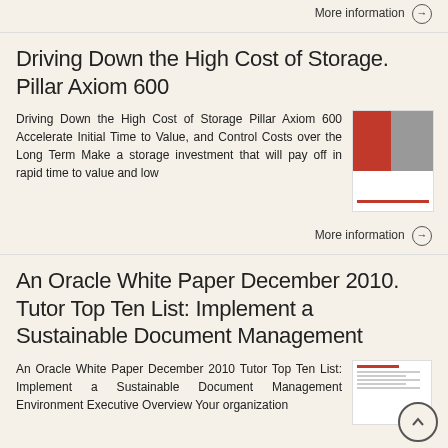More information →
Driving Down the High Cost of Storage. Pillar Axiom 600
Driving Down the High Cost of Storage Pillar Axiom 600 Accelerate Initial Time to Value, and Control Costs over the Long Term Make a storage investment that will pay off in rapid time to value and low
More information →
An Oracle White Paper December 2010. Tutor Top Ten List: Implement a Sustainable Document Management
An Oracle White Paper December 2010 Tutor Top Ten List: Implement a Sustainable Document Management Environment Executive Overview Your organization